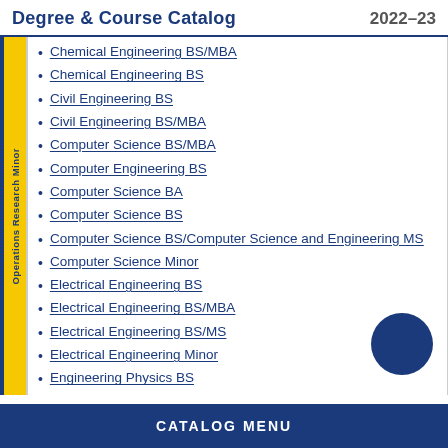Degree & Course Catalog 2022–23
Chemical Engineering BS/MBA
Chemical Engineering BS
Civil Engineering BS
Civil Engineering BS/MBA
Computer Science BS/MBA
Computer Engineering BS
Computer Science BA
Computer Science BS
Computer Science BS/Computer Science and Engineering MS
Computer Science Minor
Electrical Engineering BS
Electrical Engineering BS/MBA
Electrical Engineering BS/MS
Electrical Engineering Minor
Engineering Physics BS
CATALOG MENU